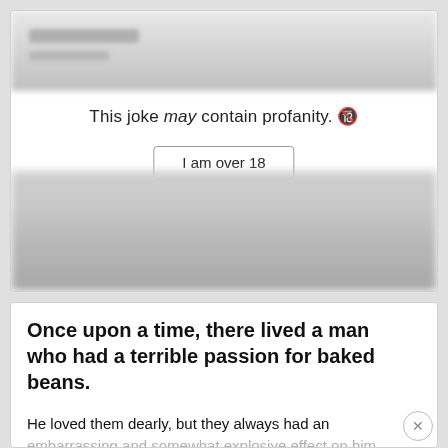[Figure (screenshot): Top card with blurred content and profanity warning overlay reading 'This joke may contain profanity.' with an 'I am over 18' button]
This joke may contain profanity. 🔞
I am over 18
Once upon a time, there lived a man who had a terrible passion for baked beans.
He loved them dearly, but they always had an embarrassing and somewhat explosive effect on him.
[Figure (screenshot): Disney Bundle advertisement banner showing Hulu, Disney+, ESPN+ logos with 'GET THE DISNEY BUNDLE' call to action and fine print]
One day he met a girl and fell in love. When it became apparent that they would m...